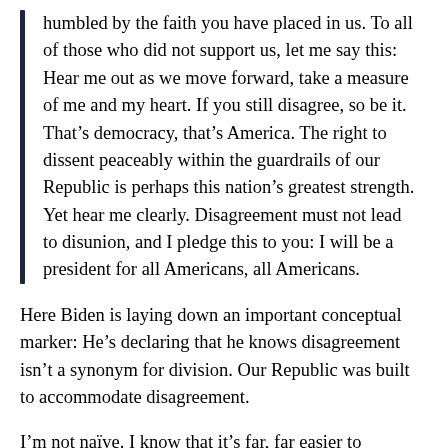humbled by the faith you have placed in us. To all of those who did not support us, let me say this: Hear me out as we move forward, take a measure of me and my heart. If you still disagree, so be it. That's democracy, that's America. The right to dissent peaceably within the guardrails of our Republic is perhaps this nation's greatest strength. Yet hear me clearly. Disagreement must not lead to disunion, and I pledge this to you: I will be a president for all Americans, all Americans.
Here Biden is laying down an important conceptual marker: He's declaring that he knows disagreement isn't a synonym for division. Our Republic was built to accommodate disagreement.
I'm not naïve. I know that it's far, far easier to welcome disagreement in theory than it is to do so in practice.